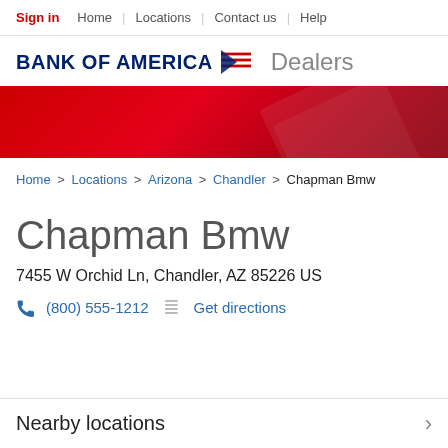Sign in | Home | Locations | Contact us | Help
[Figure (logo): Bank of America logo with flag icon and 'Dealers' text]
[Figure (illustration): Red decorative banner with diagonal geometric shapes]
Home > Locations > Arizona > Chandler > Chapman Bmw
Chapman Bmw
7455 W Orchid Ln, Chandler, AZ 85226 US
(800) 555-1212  Get directions
Nearby locations